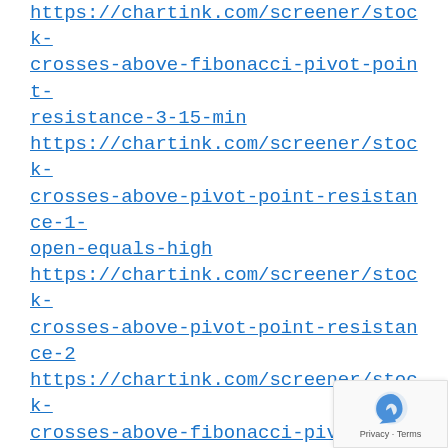https://chartink.com/screener/stock-crosses-above-fibonacci-pivot-point-resistance-3-15-min https://chartink.com/screener/stock-crosses-above-pivot-point-resistance-1-open-equals-high https://chartink.com/screener/stock-crosses-above-pivot-point-resistance-2 https://chartink.com/screener/stock-crosses-above-fibonacci-pivot-point-resistance-3-15-min
Reply
SUresh CHARI
January 22, 2020 at 2:11...